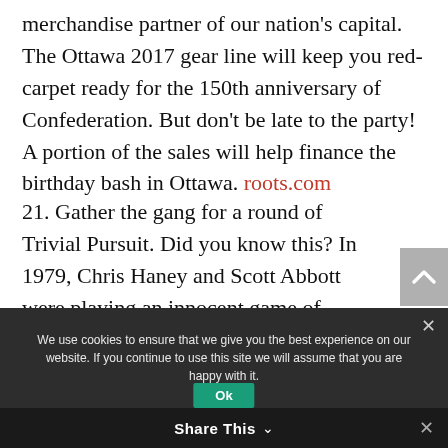merchandise partner of our nation's capital. The Ottawa 2017 gear line will keep you red-carpet ready for the 150th anniversary of Confederation. But don't be late to the party! A portion of the sales will help finance the birthday bash in Ottawa. roots.com
21. Gather the gang for a round of Trivial Pursuit. Did you know this? In 1979, Chris Haney and Scott Abbott were playing an innocent game of Scrabble (apparently missing pieces) and decided to invent their own game.
We use cookies to ensure that we give you the best experience on our website. If you continue to use this site we will assume that you are happy with it.
Share This